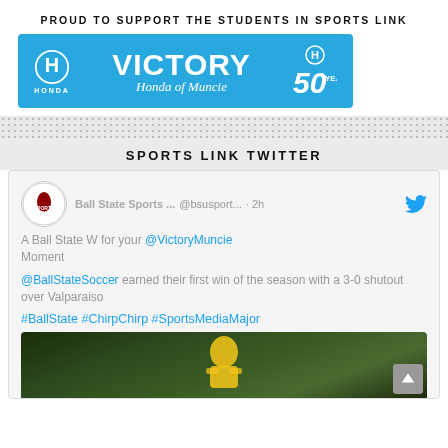PROUD TO SUPPORT THE STUDENTS IN SPORTS LINK
[Figure (logo): Victory Honda of Muncie advertisement banner — blue background with white Honda logo on left, large white VICTORY text in center with Honda of Muncie below in italic, Honda logo and 50 YEARS badge on right]
SPORTS LINK TWITTER
[Figure (screenshot): Embedded tweet from Ball State Sports Link (@bsusport...) posted 2h ago. Tweet text: A Ball State W for your @VictoryMuncie Moment. @BallStateSoccer earned their first win of the season with a 3-0 shutout over Valparaiso. #BallState #ChirpChirp #SportsMediaMajor. Includes a photo of a soccer player in a yellow jersey.]